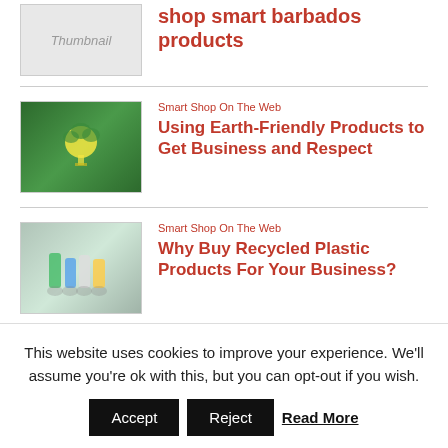shop smart barbados products
[Figure (photo): Thumbnail placeholder image]
Smart Shop On The Web
Using Earth-Friendly Products to Get Business and Respect
[Figure (photo): Hands holding glowing green light bulb surrounded by leaves]
Smart Shop On The Web
Why Buy Recycled Plastic Products For Your Business?
[Figure (photo): Hands holding colorful plastic bottles against light background]
Smart Online Payment
Selling Goods Online: Four Most
[Figure (photo): Woman in clothing store with boxes]
This website uses cookies to improve your experience. We'll assume you're ok with this, but you can opt-out if you wish.